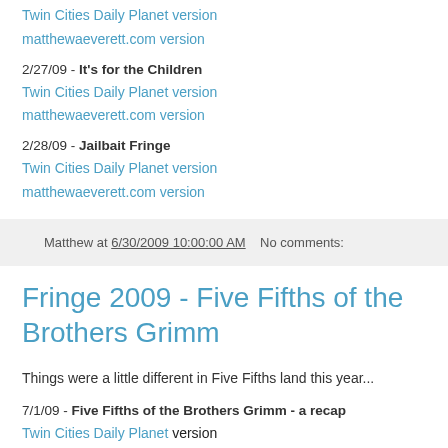Twin Cities Daily Planet version
matthewaeverett.com version
2/27/09 - It's for the Children
Twin Cities Daily Planet version
matthewaeverett.com version
2/28/09 - Jailbait Fringe
Twin Cities Daily Planet version
matthewaeverett.com version
Matthew at 6/30/2009 10:00:00 AM   No comments:
Fringe 2009 - Five Fifths of the Brothers Grimm
Things were a little different in Five Fifths land this year...
7/1/09 - Five Fifths of the Brothers Grimm - a recap
Twin Cities Daily Planet version